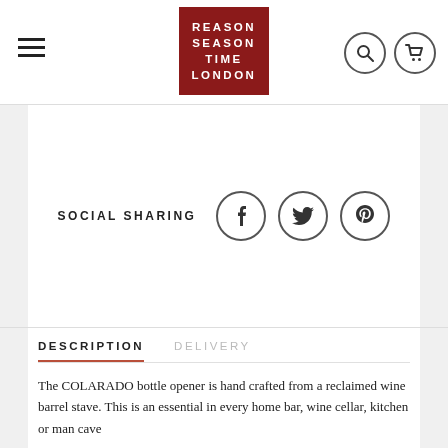[Figure (logo): Reason Season Time London logo in red box]
SOCIAL SHARING
DESCRIPTION  DELIVERY
The COLARADO bottle opener is hand crafted from a reclaimed wine barrel stave. This is an essential in every home bar, wine cellar, kitchen or man cave
Designed and made by BRAD EVANS of Alpine Wine Desgin in Lakewood - Colarado - USA. Brought to the UK exclusively by Reason Season Time Ltd